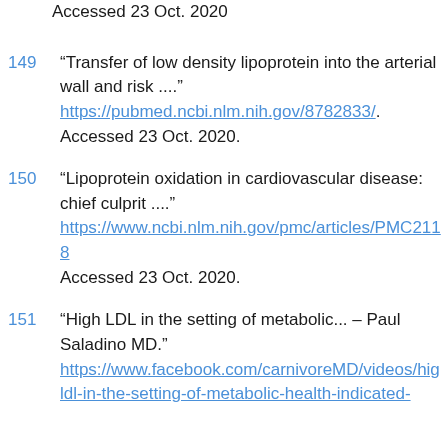Accessed 23 Oct. 2020
149 “Transfer of low density lipoprotein into the arterial wall and risk ....” https://pubmed.ncbi.nlm.nih.gov/8782833/. Accessed 23 Oct. 2020.
150 “Lipoprotein oxidation in cardiovascular disease: chief culprit ....” https://www.ncbi.nlm.nih.gov/pmc/articles/PMC2118... Accessed 23 Oct. 2020.
151 “High LDL in the setting of metabolic... – Paul Saladino MD.” https://www.facebook.com/carnivoreMD/videos/hig... ldl-in-the-setting-of-metabolic-health-indicated-